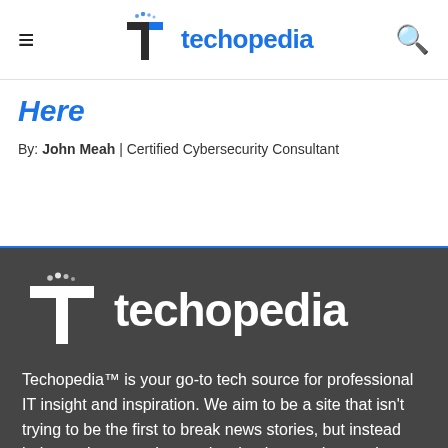techopedia
Here
By: John Meah | Certified Cybersecurity Consultant
[Figure (logo): Techopedia logo with white T-shaped icon and white text 'techopedia' on dark background]
Techopedia™ is your go-to tech source for professional IT insight and inspiration. We aim to be a site that isn't trying to be the first to break news stories, but instead help you better understand technology and — we hope — make better